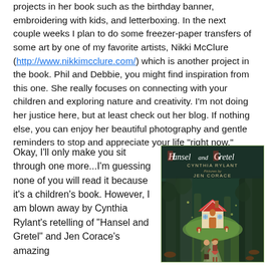projects in her book such as the birthday banner, embroidering with kids, and letterboxing. In the next couple weeks I plan to do some freezer-paper transfers of some art by one of my favorite artists, Nikki McClure (http://www.nikkimcclure.com/) which is another project in the book. Phil and Debbie, you might find inspiration from this one. She really focuses on connecting with your children and exploring nature and creativity. I'm not doing her justice here, but at least check out her blog. If nothing else, you can enjoy her beautiful photography and gentle reminders to stop and appreciate your life "right now."
Okay, I'll only make you sit through one more...I'm guessing none of you will read it because it's a children's book. However, I am blown away by Cynthia Rylant's retelling of "Hansel and Gretel" and Jen Corace's amazing
[Figure (illustration): Book cover of 'Hansel and Gretel' by Cynthia Rylant, Pictures by Jen Corace. Shows two children walking through a dark forest toward a small cottage with a red roof.]